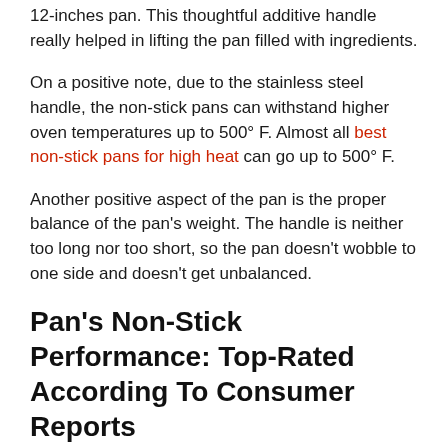12-inches pan. This thoughtful additive handle really helped in lifting the pan filled with ingredients.
On a positive note, due to the stainless steel handle, the non-stick pans can withstand higher oven temperatures up to 500° F. Almost all best non-stick pans for high heat can go up to 500° F.
Another positive aspect of the pan is the proper balance of the pan's weight. The handle is neither too long nor too short, so the pan doesn't wobble to one side and doesn't get unbalanced.
Pan's Non-Stick Performance: Top-Rated According To Consumer Reports